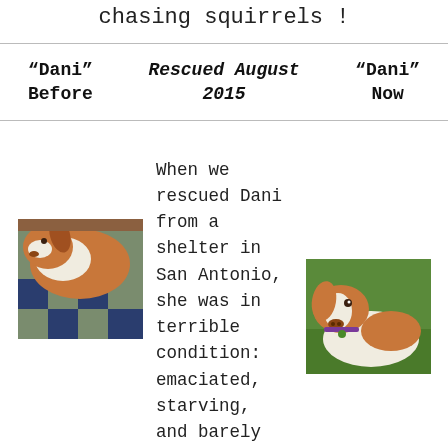chasing squirrels !
| "Dani" Before | Rescued August 2015 | "Dani" Now |
| --- | --- | --- |
[Figure (photo): Photo of Dani the dog before rescue, showing a brown and white dog lying down, appearing thin and unwell, on a patterned blanket]
When we rescued Dani from a shelter in San Antonio, she was in terrible condition: emaciated, starving, and barely clinging to life. She almost lost her leg due to the severity of her injuries. Now she is
[Figure (photo): Photo of Dani the dog now, showing a healthy brown and white Brittany Spaniel lying on grass wearing a purple collar]